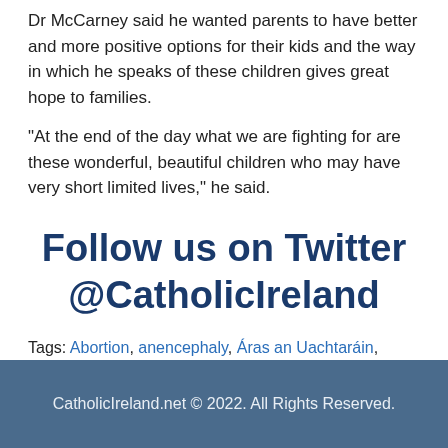Dr McCarney said he wanted parents to have better and more positive options for their kids and the way in which he speaks of these children gives great hope to families.
“At the end of the day what we are fighting for are these wonderful, beautiful children who may have very short limited lives,” he said.
Follow us on Twitter @CatholicIreland
Tags: Abortion, anencephaly, Áras an Uachtaráin, Constitutional right to life, EveryLifeCounts, foetal abnormality, Life Institute, life limiting conditions, President Michael D. Higgins, Pro-Life, Sabina Higgins, Senator Rónán Mullen, severe disability, Trinity College, Trisomy 13
CatholicIreland.net © 2022. All Rights Reserved.